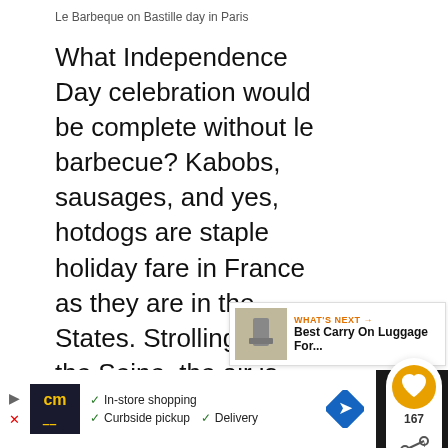Le Barbeque on Bastille day in Paris
What Independence Day celebration would be complete without le barbecue? Kabobs, sausages, and yes, hotdogs are staple holiday fare in France as they are in the States. Strolling along the Seine, the air is redolent with the aromas of grilling, foodstuffs provided by individual vendors and those occupying the fair stalls set up for the holiday. Grab a dog to go but don't be surprised that it comes on a loaf, not a bun.
[Figure (other): Social interaction panel with heart/like button showing 167 likes and a share button]
[Figure (other): What's Next panel showing Best Carry On Luggage For... with thumbnail image]
[Figure (other): Advertisement bar at bottom showing CM logo with In-store shopping, Curbside pickup, Delivery options, blue diamond arrow icon, and dark right section]